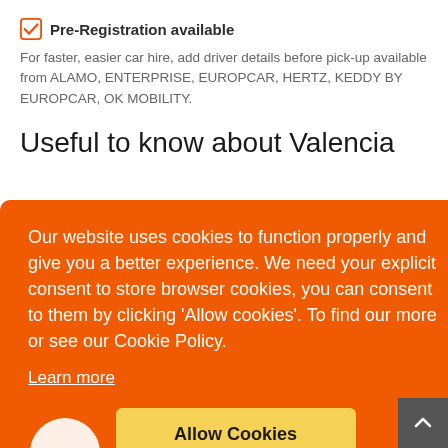Pre-Registration available
For faster, easier car hire, add driver details before pick-up available from ALAMO, ENTERPRISE, EUROPCAR, HERTZ, KEDDY BY EUROPCAR, OK MOBILITY.
Useful to know about Valencia
Our website uses cookies to function properly and give you a better experience. We need your explicit consent to store browser cookies, you can consent to them by clicking ‘Allow cookies’. To find our more or see our Cookie Policy.
Learn more
Allow Cookies